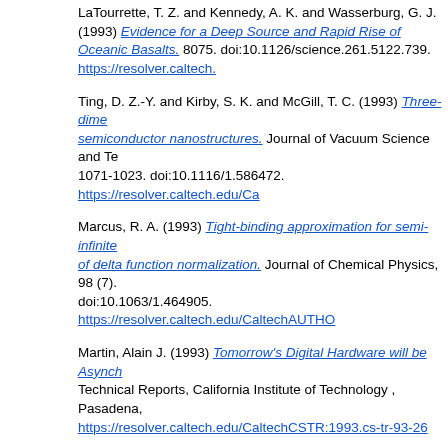LaTourrette, T. Z. and Kennedy, A. K. and Wasserburg, G. J. (1993) Evidence for a Deep Source and Rapid Rise of Oceanic Basalts. 8075. doi:10.1126/science.261.5122.739. https://resolver.caltech.
Ting, D. Z.-Y. and Kirby, S. K. and McGill, T. C. (1993) Three-dimensional quantum confinement in semiconductor nanostructures. Journal of Vacuum Science and Technology, 1071-1023. doi:10.1116/1.586472. https://resolver.caltech.edu/Ca
Marcus, R. A. (1993) Tight-binding approximation for semi-infinite ... of delta function normalization. Journal of Chemical Physics, 98 (7). doi:10.1063/1.464905. https://resolver.caltech.edu/CaltechAUTHO
Martin, Alain J. (1993) Tomorrow's Digital Hardware will be Asynchronous. Technical Reports, California Institute of Technology , Pasadena, CA. https://resolver.caltech.edu/CaltechCSTR:1993.cs-tr-93-26
Hide, R. and Clayton, R. W. and Hager, B. H. et al. (1993) Topographic ... in the Earth's Rotation. In: Relating Geophysical Structures and P Monograph Series. No.76. American Geophysical Union , Washington DC. https://resolver.caltech.edu/CaltechAUTHORS:20121016-145941
Rimon, Elon and Burdick, Joel (1993) Towards planning with force contact. In: [1993] Proceedings IEEE International Conference on NJ, pp. 994-1000. ISBN 0-8186-3450-2. https://resolver.caltech.edu
Gesztesy, F. and Holden, H. and Simon, B. et al. (1993) Trace formulas for Schrödinger operators. Bulletin of the American Mathematical Society. doi:10.1090/S0273-0979-1993-00431-2. https://resolver.caltech.e